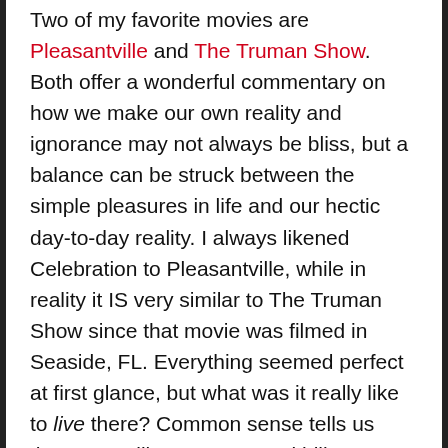Two of my favorite movies are Pleasantville and The Truman Show. Both offer a wonderful commentary on how we make our own reality and ignorance may not always be bliss, but a balance can be struck between the simple pleasures in life and our hectic day-to-day reality. I always likened Celebration to Pleasantville, while in reality it IS very similar to The Truman Show since that movie was filmed in Seaside, FL. Everything seemed perfect at first glance, but what was it really like to live there? Common sense tells us there are still mortgages and bills to pay, jobs to go to, sometimes unruly kids to manage. Add to that the fact that Celebration has from the start been a bit of its own tourist attraction since it was initially developed and owned by the Walt Disney Company, and many people chose to paint it in a bad light. The land is actually part of Kissimmee/Osceola County now (and has been for